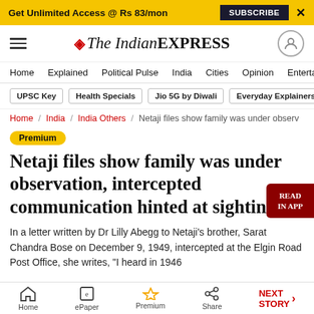Get Unlimited Access @ Rs 83/mon | SUBSCRIBE | X
The Indian EXPRESS — site header with navigation
Home / Explained / Political Pulse / India / Cities / Opinion / Entertainment
UPSC Key | Health Specials | Jio 5G by Diwali | Everyday Explainers
Home / India / India Others / Netaji files show family was under observ...
Premium
Netaji files show family was under observation, intercepted communication hinted at sighting
In a letter written by Dr Lilly Abegg to Netaji's brother, Sarat Chandra Bose on December 9, 1949, intercepted at the Elgin Road Post Office, she writes, "I heard in 1946
Home | ePaper | Premium | Share | NEXT STORY